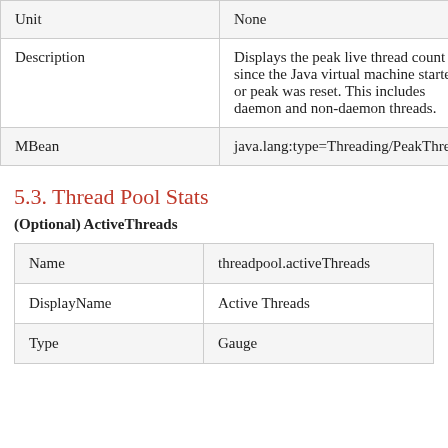|  |  |
| --- | --- |
| Unit | None |
| Description | Displays the peak live thread count since the Java virtual machine started or peak was reset. This includes daemon and non-daemon threads. |
| MBean | java.lang:type=Threading/PeakThreadC… |
5.3. Thread Pool Stats
(Optional) ActiveThreads
|  |  |
| --- | --- |
| Name | threadpool.activeThreads |
| DisplayName | Active Threads |
| Type | Gauge |